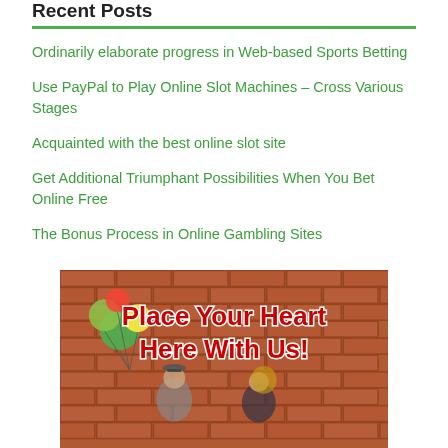Recent Posts
Ordinarily elaborate progress in Web-based Sports Betting
Use PayPal to Play Online Slot Machines – Cross Various Stages
Acquainted with the best online slot site
Get Additional Triumphant Possibilities When You Bet Online Free
The Bonus Process in Online Gambling Sites
[Figure (photo): Promotional image with a couple standing in front of a brick wall. Man holds colorful balloons. Bold red and white text reads 'Place Your Heart Here With Us!']